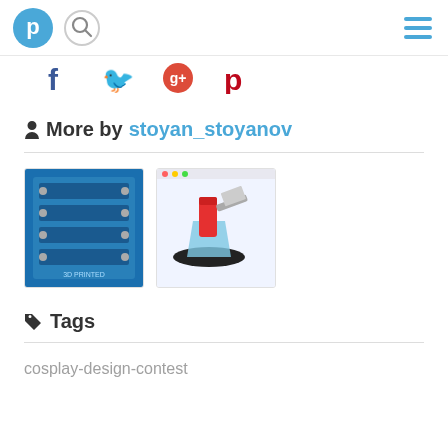Pinshape header with logo, search, and menu
[Figure (screenshot): Partial social sharing icons row: Facebook, Twitter, Google+, Pinterest]
More by stoyan_stoyanov
[Figure (photo): Blue 3D printed electronic component with screws and wiring]
[Figure (screenshot): CAD model rendering of a red and silver tool/clamp on a black disc]
Tags
cosplay-design-contest